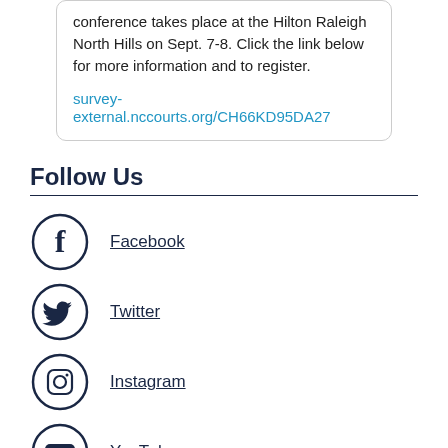conference takes place at the Hilton Raleigh North Hills on Sept. 7-8. Click the link below for more information and to register.
survey-external.nccourts.org/CH66KD95DA27
Follow Us
Facebook
Twitter
Instagram
YouTube